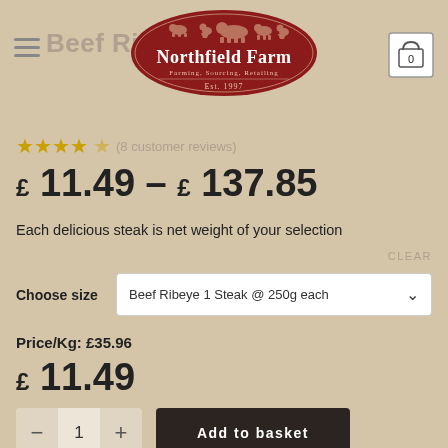Beef Ribeye Steak
[Figure (logo): Northfield Farm oval logo in dark red with farm animals silhouette, text: Northfield Farm, Farming, Sourcing, Retailing, Est. 1997]
★★★★☆ (8 customer reviews)
£ 11.49 – £ 137.85
Each delicious steak is net weight of your selection
CLEAR
Choose size   Beef Ribeye 1 Steak @ 250g each
Price/Kg: £35.96
£ 11.49
- 1 +   Add to basket